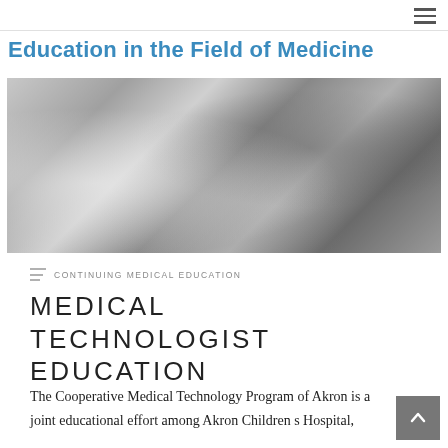Education in the Field of Medicine
[Figure (photo): Black and white photograph of a medical laboratory scene showing a person in a white lab coat working with test tubes and laboratory equipment including bottles and what appears to be a microscope or other instrument.]
CONTINUING MEDICAL EDUCATION
MEDICAL TECHNOLOGIST EDUCATION
The Cooperative Medical Technology Program of Akron is a joint educational effort among Akron Children s Hospital,